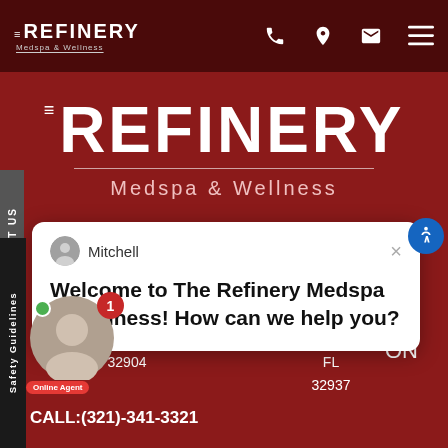[Figure (screenshot): The Refinery Medspa & Wellness website screenshot with navigation bar, large logo, social media icons, chat popup from agent Mitchell, and address information at bottom]
THE REFINERY Medspa & Wellness
Welcome to The Refinery Medspa & Wellness! How can we help you?
4311 Norfolk Parkway # 114
West Melbourne, FL 32904

2194 Florida A1A Unit 104
Indian Harbour Beach, FL 32937
CALL:(321)-341-3321